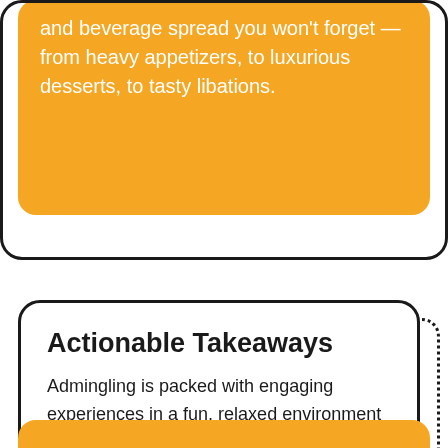and beverage spread you won't forget — from heavy appetizers, to luxurious desserts, to tasty libations.
Actionable Takeaways
Admingling is packed with engaging experiences in a fun, relaxed environment for learning from each other's experiences.